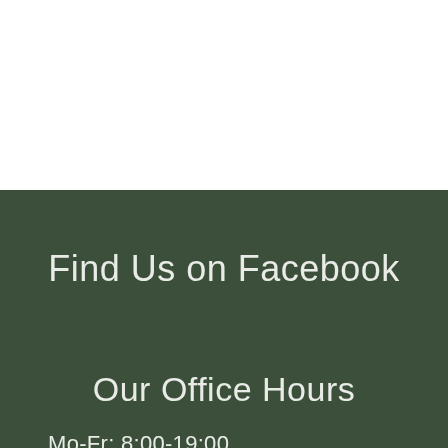Find Us on Facebook
Our Office Hours
Mo-Fr: 8:00-19:00